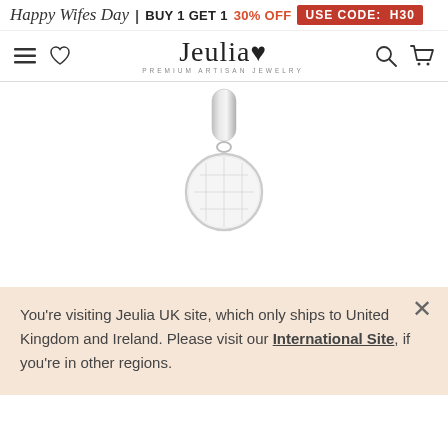Happy Wifes Day | BUY 1 GET 1 30% OFF USE CODE: H30
[Figure (logo): Jeulia brand logo with tagline PREMIUM ARTISAN JEWELRY, flanked by navigation icons (hamburger menu, heart/wishlist, search, cart)]
[Figure (photo): Silver charm pendant jewelry piece with a rounded bail at top and circular disc charm with grid/tile pattern, shown on white background]
You're visiting Jeulia UK site, which only ships to United Kingdom and Ireland. Please visit our International Site, if you're in other regions.